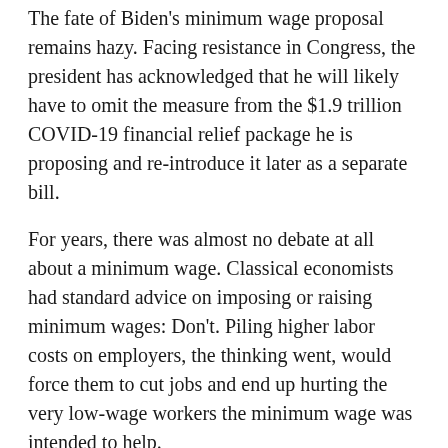The fate of Biden's minimum wage proposal remains hazy. Facing resistance in Congress, the president has acknowledged that he will likely have to omit the measure from the $1.9 trillion COVID-19 financial relief package he is proposing and re-introduce it later as a separate bill.
For years, there was almost no debate at all about a minimum wage. Classical economists had standard advice on imposing or raising minimum wages: Don't. Piling higher labor costs on employers, the thinking went, would force them to cut jobs and end up hurting the very low-wage workers the minimum wage was intended to help.
But groundbreaking research in the 1990s suggested that the Econ 101 version was simplistic at best. Now there is growing confidence among economists — though far from a consensus — that lawmakers can mandate sharp increases in the minimum wage without killing large numbers of jobs.
Assessing Biden's $15 plan, for instance, economists at